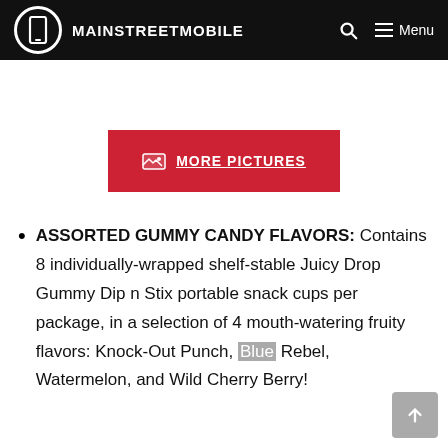MAINSTREETMOBILE
[Figure (other): Red button with image icon and text MORE PICTURES]
ASSORTED GUMMY CANDY FLAVORS: Contains 8 individually-wrapped shelf-stable Juicy Drop Gummy Dip n Stix portable snack cups per package, in a selection of 4 mouth-watering fruity flavors: Knock-Out Punch, Blue Rebel, Watermelon, and Wild Cherry Berry!